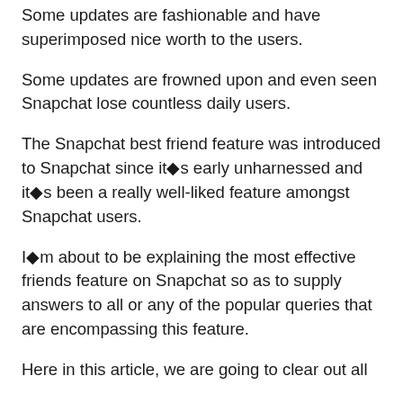Some updates are fashionable and have superimposed nice worth to the users.
Some updates are frowned upon and even seen Snapchat lose countless daily users.
The Snapchat best friend feature was introduced to Snapchat since it◆s early unharnessed and it◆s been a really well-liked feature amongst Snapchat users.
I◆m about to be explaining the most effective friends feature on Snapchat so as to supply answers to all or any of the popular queries that are encompassing this feature.
Here in this article, we are going to clear out all